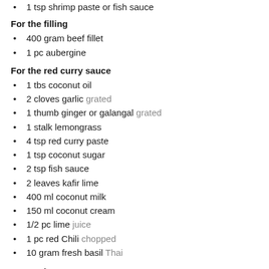1 tsp shrimp paste or fish sauce
For the filling
400 gram beef fillet
1 pc aubergine
For the red curry sauce
1 tbs coconut oil
2 cloves garlic grated
1 thumb ginger or galangal grated
1 stalk lemongrass
4 tsp red curry paste
1 tsp coconut sugar
2 tsp fish sauce
2 leaves kafir lime
400 ml coconut milk
150 ml coconut cream
1/2 pc lime juice
1 pc red Chili chopped
10 gram fresh basil Thai
Instructions